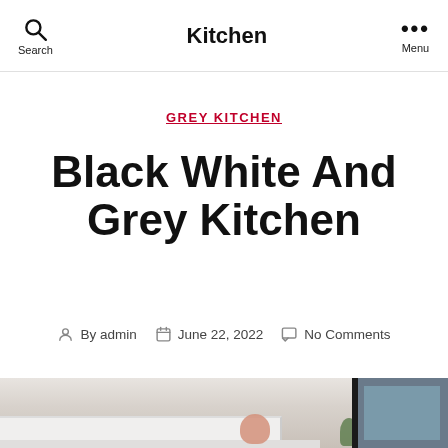Kitchen
GREY KITCHEN
Black White And Grey Kitchen
By admin  June 22, 2022  No Comments
[Figure (photo): Kitchen interior photo showing white cabinetry, a hood range, and a black-framed window on the right side]